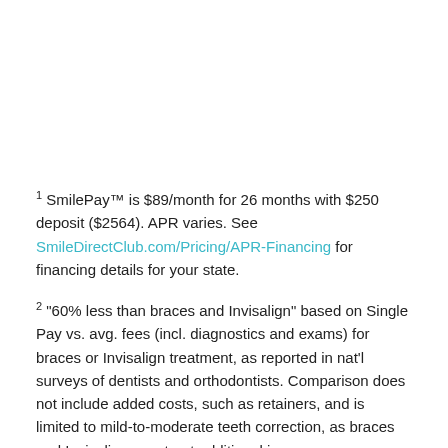1 SmilePay™ is $89/month for 26 months with $250 deposit ($2564). APR varies. See SmileDirectClub.com/Pricing/APR-Financing for financing details for your state.
2 "60% less than braces and Invisalign" based on Single Pay vs. avg. fees (incl. diagnostics and exams) for braces or Invisalign treatment, as reported in nat'l surveys of dentists and orthodontists. Comparison does not include added costs, such as retainers, and is limited to mild-to-moderate teeth correction, as braces and Invisalign may treat additional issues.